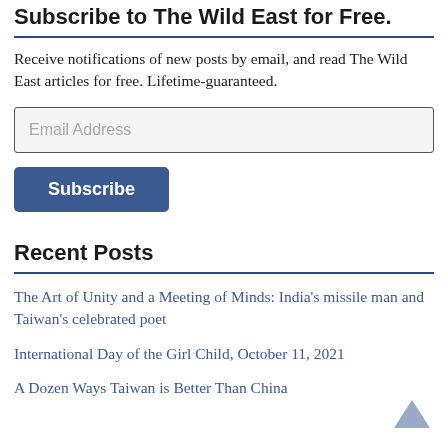Subscribe to The Wild East for Free.
Receive notifications of new posts by email, and read The Wild East articles for free. Lifetime-guaranteed.
Email Address
Subscribe
Recent Posts
The Art of Unity and a Meeting of Minds: India's missile man and Taiwan's celebrated poet
International Day of the Girl Child, October 11, 2021
A Dozen Ways Taiwan is Better Than China